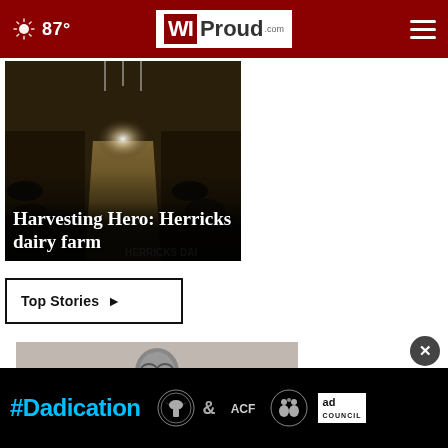87° WIProud.com
[Figure (photo): Interior of a dairy barn with cows on both sides and light streaming in from the far end]
Harvesting Hero: Herricks dairy farm
Top Stories ▶
[Figure (photo): Close-up photo of a person wearing glasses]
[Figure (infographic): #Dadication ad banner with HHS, ACF, and Ad Council logos]